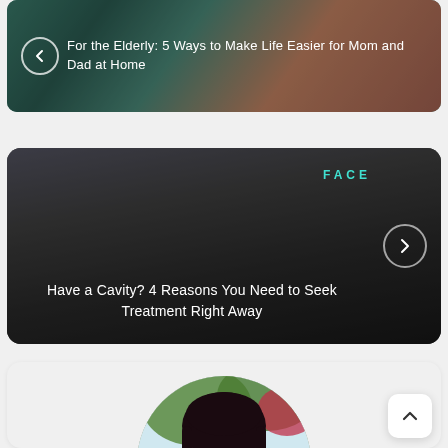[Figure (screenshot): Article card with back arrow button, teal/warm background photo of people, white text reading 'For the Elderly: 5 Ways to Make Life Easier for Mom and Dad at Home']
For the Elderly: 5 Ways to Make Life Easier for Mom and Dad at Home
[Figure (screenshot): Dark article card with close-up face photo background, teal 'FACE' category label, forward arrow button, white text reading 'Have a Cavity? 4 Reasons You Need to Seek Treatment Right Away']
Have a Cavity? 4 Reasons You Need to Seek Treatment Right Away
[Figure (photo): Circular profile photo of a young woman with short dark hair wearing glasses and a striped shirt, with an outdoor background with greenery and flowers]